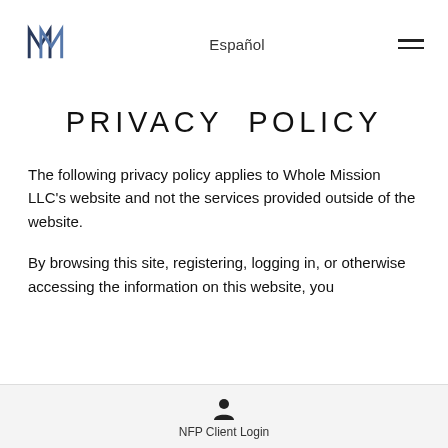Español
PRIVACY POLICY
The following privacy policy applies to Whole Mission LLC's website and not the services provided outside of the website.
By browsing this site, registering, logging in, or otherwise accessing the information on this website, you
NFP Client Login